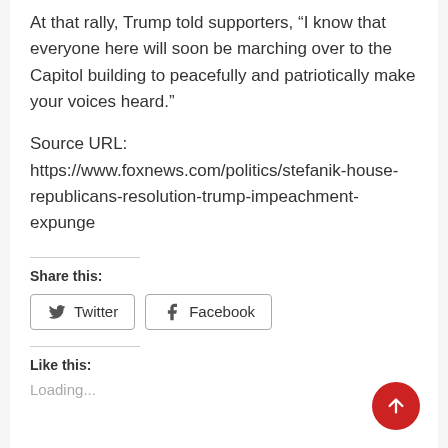At that rally, Trump told supporters, “I know that everyone here will soon be marching over to the Capitol building to peacefully and patriotically make your voices heard.”
Source URL: https://www.foxnews.com/politics/stefanik-house-republicans-resolution-trump-impeachment-expunge
Share this:
Twitter  Facebook
Like this:
Loading...